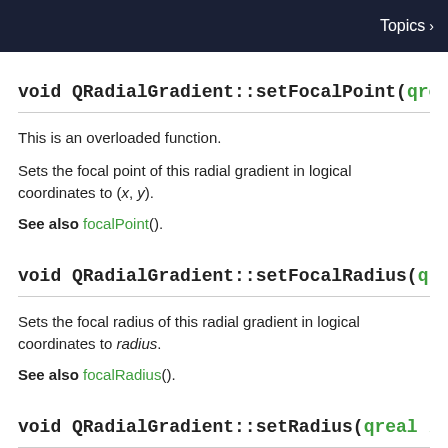Topics >
void QRadialGradient::setFocalPoint(qreal x, qreal y)
This is an overloaded function.
Sets the focal point of this radial gradient in logical coordinates to (x, y).
See also focalPoint().
void QRadialGradient::setFocalRadius(qreal radius)
Sets the focal radius of this radial gradient in logical coordinates to radius.
See also focalRadius().
void QRadialGradient::setRadius(qreal radius)
Sets the radius of this radial gradient in logical coordinates to radius.